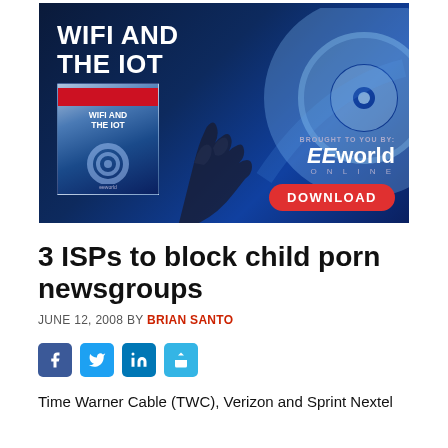[Figure (infographic): Advertisement banner for 'WiFi and the IoT' ebook by EEworld Online. Dark blue background with WiFi rings graphic and robotic hand. Shows book cover, 'BROUGHT TO YOU BY: EEworld ONLINE' text and red DOWNLOAD button.]
3 ISPs to block child porn newsgroups
JUNE 12, 2008 BY BRIAN SANTO
[Figure (infographic): Social sharing icons row: Facebook (blue), Twitter (light blue), LinkedIn (blue), Share (light blue)]
Time Warner Cable (TWC), Verizon and Sprint Nextel